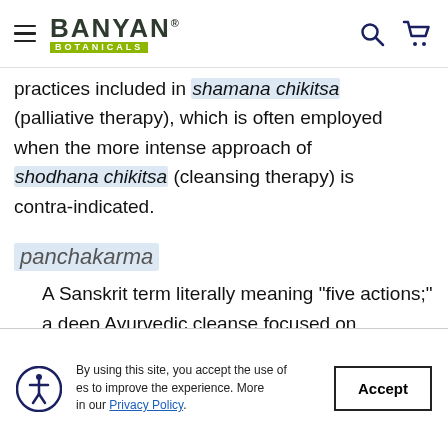Banyan Botanicals
practices included in shamana chikitsa (palliative therapy), which is often employed when the more intense approach of shodhana chikitsa (cleansing therapy) is contra-indicated.
panchakarma
A Sanskrit term literally meaning “five actions;” a deep Ayurvedic cleanse focused on returning excess vata, pitta, kapha, and ama to
By using this site, you accept the use of cookies to improve the experience. More in our Privacy Policy.